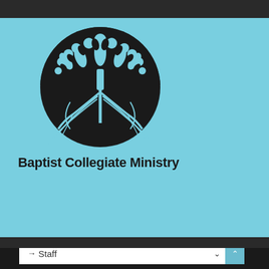[Figure (logo): Baptist Collegiate Ministry logo: a circular emblem with a stylized tree featuring leaves on top and roots below, rendered in black on a light blue background]
Baptist Collegiate Ministry
→  Staff